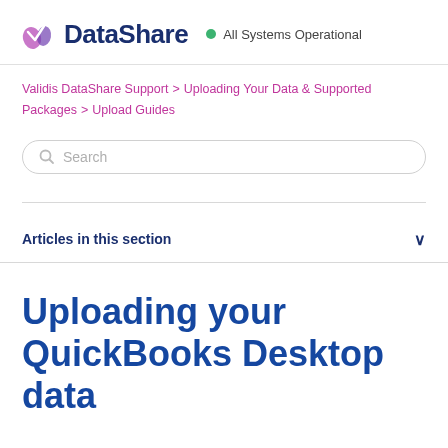DataShare · All Systems Operational
Validis DataShare Support > Uploading Your Data & Supported Packages > Upload Guides
Search
Articles in this section
Uploading your QuickBooks Desktop data